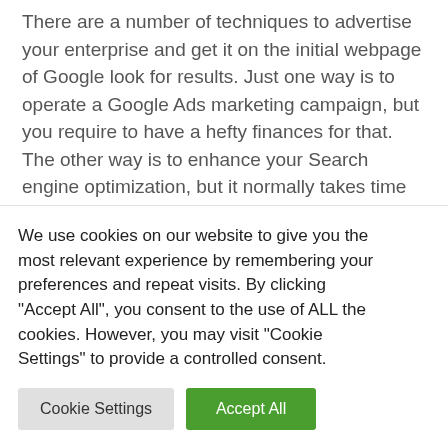There are a number of techniques to advertise your enterprise and get it on the initial webpage of Google look for results. Just one way is to operate a Google Ads marketing campaign, but you require to have a hefty finances for that. The other way is to enhance your Search engine optimization, but it normally takes time to make your authority and ranking. Nevertheless, a GBP listing delivers a speedier and more cost-effective way to get qualified exposure on the most important look for motor. Making, boosting, and verifying your listing costs you...
We use cookies on our website to give you the most relevant experience by remembering your preferences and repeat visits. By clicking "Accept All", you consent to the use of ALL the cookies. However, you may visit "Cookie Settings" to provide a controlled consent.